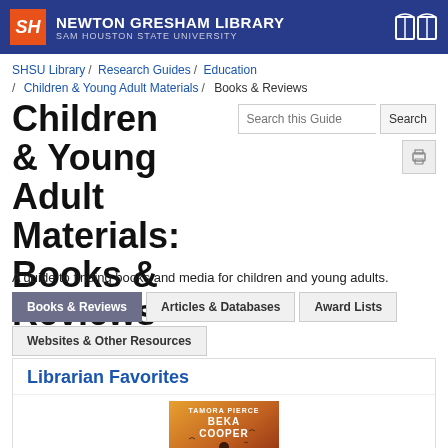Newton Gresham Library — Sam Houston State University
SHSU Library / Research Guides / Education / Children & Young Adult Materials / Books & Reviews
Children & Young Adult Materials: Books & Reviews
A guide to finding books and media for children and young adults.
Books & Reviews | Articles & Databases | Award Lists | Websites & Other Resources
Librarian Favorites
[Figure (photo): Book cover of Tamora Pierce's Beka Cooper]